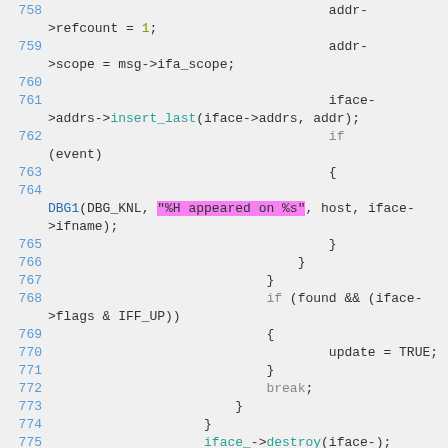Source code listing, lines 758-775, C/C++ code snippet showing network interface address handling
[Figure (screenshot): Syntax-highlighted C source code showing lines 758-775 with line numbers in blue, keywords in gray, function calls in teal, a string literal highlighted in pink/magenta, and DBG1 macro call in blue]